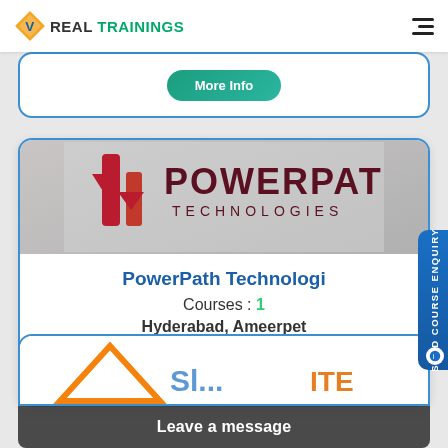REAL TRAININGS
[Figure (screenshot): Partial card with a teal More Info button, partially visible at top]
[Figure (logo): PowerPath Technologies logo — red P-arrow icon with POWERPATH TECHNOLOGIES text]
PowerPath Technologi
Courses : 1
Hyderabad, Ameerpet
More Info
[Figure (screenshot): Partial bottom card showing another training center logo (orange/blue)]
Leave a message